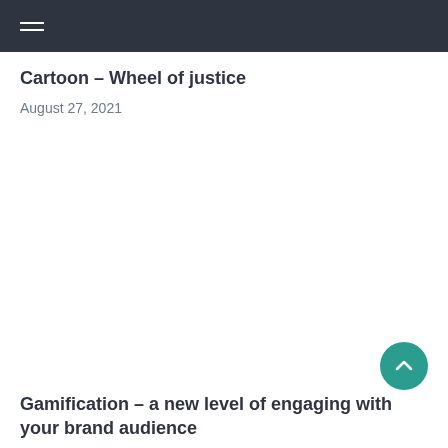Cartoon – Wheel of justice
August 27, 2021
Gamification – a new level of engaging with your brand audience